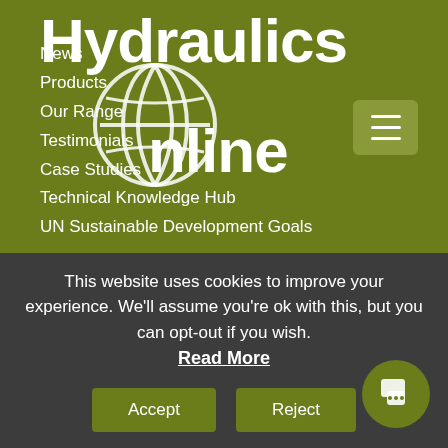[Figure (logo): Hydraulics Online logo with globe icon, white text on olive green background]
News
Products
Our Range
Testimonials
Case Studies
Technical Knowledge Hub
UN Sustainable Development Goals
OUR POLICIES
Terms & Useful Information
Privacy Policy
Anti Bribery Policy
This website uses cookies to improve your experience. We'll assume you're ok with this, but you can opt-out if you wish. Read More
Accept
Reject